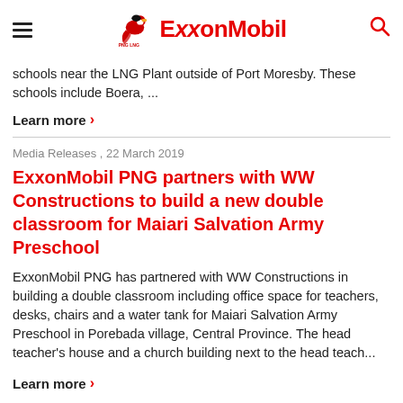PNG LNG ExxonMobil
schools near the LNG Plant outside of Port Moresby. These schools include Boera, ...
Learn more >
Media Releases , 22 March 2019
ExxonMobil PNG partners with WW Constructions to build a new double classroom for Maiari Salvation Army Preschool
ExxonMobil PNG has partnered with WW Constructions in building a double classroom including office space for teachers, desks, chairs and a water tank for Maiari Salvation Army Preschool in Porebada village, Central Province. The head teacher’s house and a church building next to the head teach...
Learn more >